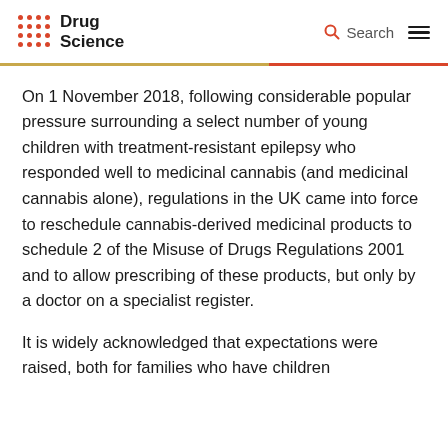Drug Science
On 1 November 2018, following considerable popular pressure surrounding a select number of young children with treatment-resistant epilepsy who responded well to medicinal cannabis (and medicinal cannabis alone), regulations in the UK came into force to reschedule cannabis-derived medicinal products to schedule 2 of the Misuse of Drugs Regulations 2001 and to allow prescribing of these products, but only by a doctor on a specialist register.
It is widely acknowledged that expectations were raised, both for families who have children